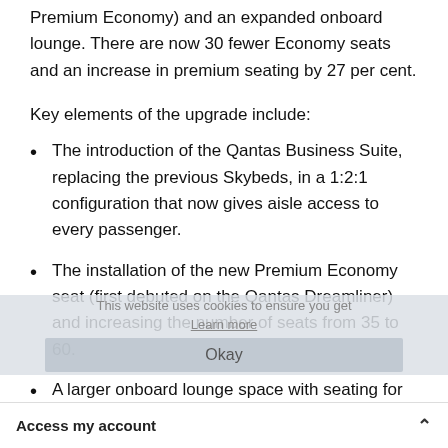Premium Economy) and an expanded onboard lounge. There are now 30 fewer Economy seats and an increase in premium seating by 27 per cent.
Key elements of the upgrade include:
The introduction of the Qantas Business Suite, replacing the previous Skybeds, in a 1:2:1 configuration that now gives aisle access to every passenger.
The installation of the new Premium Economy seat (first debuted on the Qantas Dreamliner) and increasing the number of seats from 35 to 60.
A larger onboard lounge space with seating for up to 10 Business and First passengers.
Access my account